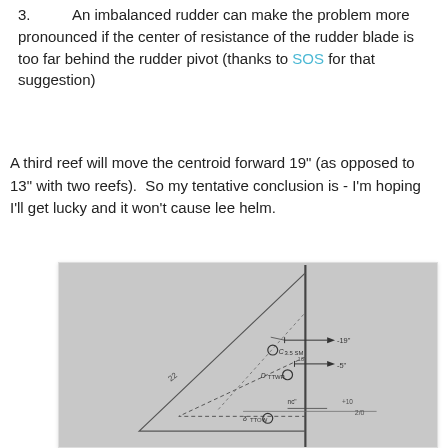3. An imbalanced rudder can make the problem more pronounced if the center of resistance of the rudder blade is too far behind the rudder pivot (thanks to SOS for that suggestion)
A third reef will move the centroid forward 19" (as opposed to 13" with two reefs).  So my tentative conclusion is - I'm hoping I'll get lucky and it won't cause lee helm.
[Figure (engineering-diagram): Hand-drawn sailing diagram showing mast, sail outline, and centroid positions annotated with measurements. Labels include centroid markers with distances such as 19" and 3", and references to sail configurations (2-reef, 3-reef). Handwritten annotations mark centroid positions along a horizontal axis.]